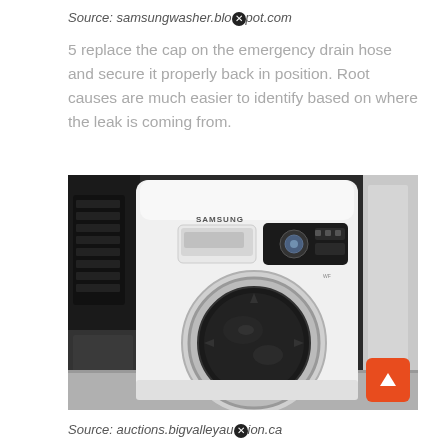Source: samsungwasher.blogspot.com
5 replace the cap on the emergency drain hose and secure it properly back in position. Root causes are much easier to identify based on where the leak is coming from.
[Figure (photo): Photo of a Samsung front-loading washing machine, white, shown from the front with control panel visible, surrounded by other appliances in what appears to be a store or warehouse setting. An orange scroll-to-top button is in the bottom-right corner of the image.]
Source: auctions.bigvalleyauction.ca